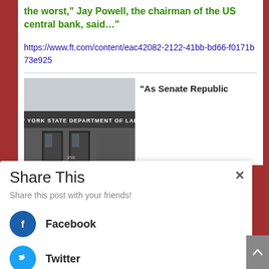the worst," Jay Powell, the chairman of the US central bank, said..."
https://www.ft.com/content/eac42082-2122-41bb-bd66-f0171b73e925
[Figure (photo): Photo of the New York State Department of Labor building entrance with sign above doors]
“As Senate Republic
Share This
Share this post with your friends!
Facebook
Twitter